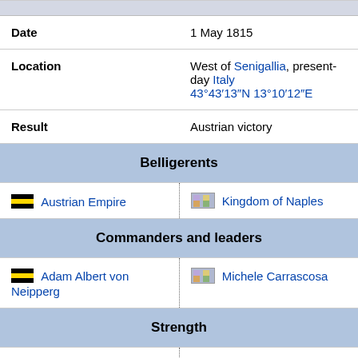| Field | Value |
| --- | --- |
| Date | 1 May 1815 |
| Location | West of Senigallia, present-day Italy 43°43′13″N 13°10′12″E |
| Result | Austrian victory |
| Belligerents |  |
|  | Austrian Empire | Kingdom of Naples |
| Commanders and leaders |  |
|  | Adam Albert von Neipperg | Michele Carrascosa |
| Strength |  |
| 15,300 | 8,256 men
240 horses |